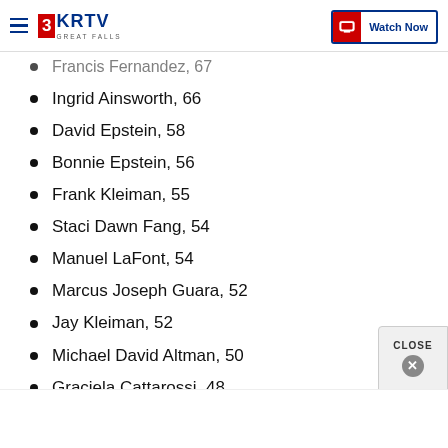3KRTV Great Falls — Watch Now
Francis Fernandez, 67
Ingrid Ainsworth, 66
David Epstein, 58
Bonnie Epstein, 56
Frank Kleiman, 55
Staci Dawn Fang, 54
Manuel LaFont, 54
Marcus Joseph Guara, 52
Jay Kleiman, 52
Michael David Altman, 50
Graciela Cattarossi, 48
Anna Ortiz, 46